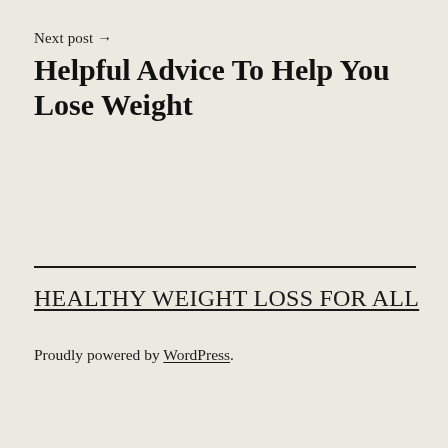Next post →
Helpful Advice To Help You Lose Weight
HEALTHY WEIGHT LOSS FOR ALL
Proudly powered by WordPress.